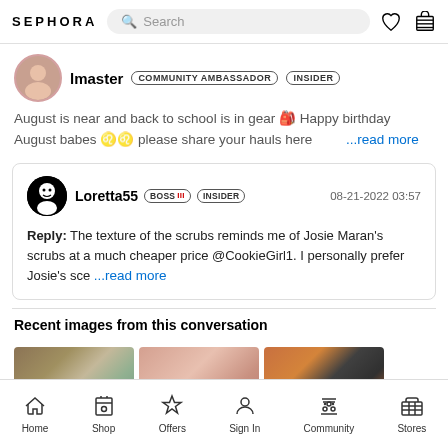SEPHORA
lmaster COMMUNITY AMBASSADOR INSIDER
August is near and back to school is in gear 🎒 Happy birthday August babes 🦁♌ please share your hauls here ...read more
Loretta55 BOSS III INSIDER 08-21-2022 03:57 Reply: The texture of the scrubs reminds me of Josie Maran's scrubs at a much cheaper price @CookieGirl1. I personally prefer Josie's sce ...read more
Recent images from this conversation
[Figure (photo): Thumbnail images of beauty/makeup products haul]
Home  Shop  Offers  Sign In  Community  Stores